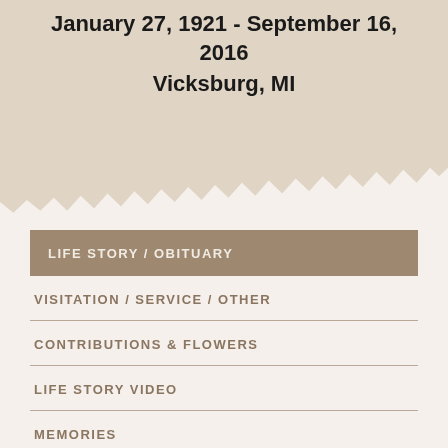January 27, 1921 - September 16, 2016
Vicksburg, MI
LIFE STORY / OBITUARY
VISITATION / SERVICE / OTHER
CONTRIBUTIONS & FLOWERS
LIFE STORY VIDEO
MEMORIES
GUESTBOOK
PHOTOS